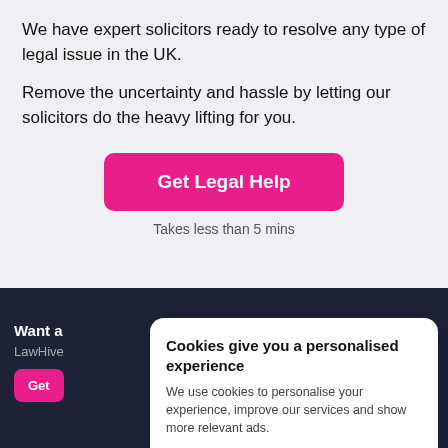We have expert solicitors ready to resolve any type of legal issue in the UK.
Remove the uncertainty and hassle by letting our solicitors do the heavy lifting for you.
[Figure (other): Pink CTA button labeled 'Get Legal Help']
Takes less than 5 mins
Want a
LawHive
Cookies give you a personalised experience
We use cookies to personalise your experience, improve our services and show more relevant ads.
Allow Cookies
Manage Settings